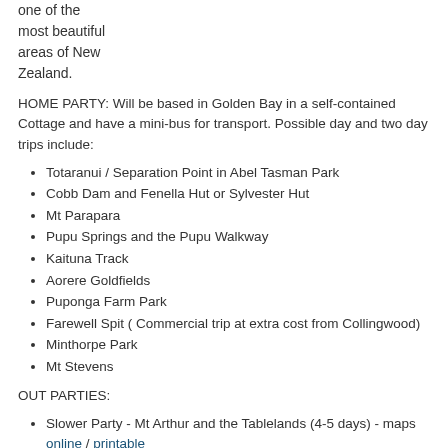one of the most beautiful areas of New Zealand.
HOME PARTY: Will be based in Golden Bay in a self-contained Cottage and have a mini-bus for transport. Possible day and two day trips include:
Totaranui / Separation Point in Abel Tasman Park
Cobb Dam and Fenella Hut or Sylvester Hut
Mt Parapara
Pupu Springs and the Pupu Walkway
Kaituna Track
Aorere Goldfields
Puponga Farm Park
Farewell Spit ( Commercial trip at extra cost from Collingwood)
Minthorpe Park
Mt Stevens
OUT PARTIES:
Slower Party - Mt Arthur and the Tablelands (4-5 days) - maps online / printable